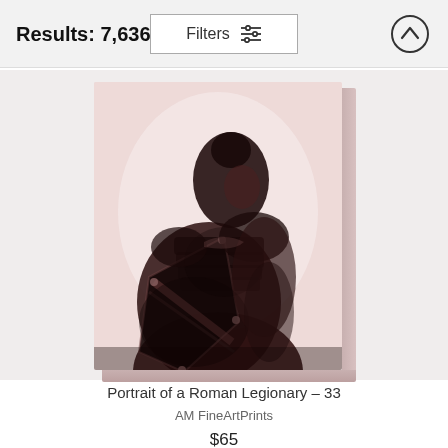Results: 7,636
Filters
[Figure (illustration): A dramatic dark-toned artistic illustration of a Roman legionary soldier in profile/back view, wearing ornate armor and a helmet, holding a large shield. The artwork has a sepia/rose tone on a light pink background. It is displayed as a canvas print with visible side edges.]
Portrait of a Roman Legionary – 33
AM FineArtPrints
$65